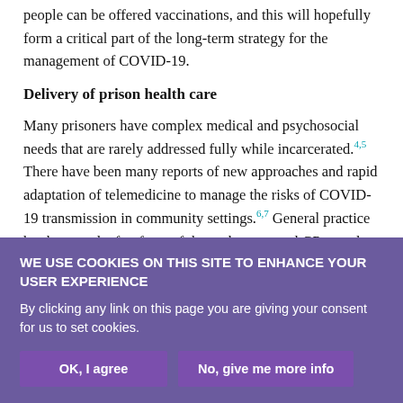people can be offered vaccinations, and this will hopefully form a critical part of the long-term strategy for the management of COVID-19.
Delivery of prison health care
Many prisoners have complex medical and psychosocial needs that are rarely addressed fully while incarcerated.4,5 There have been many reports of new approaches and rapid adaptation of telemedicine to manage the risks of COVID-19 transmission in community settings.6,7 General practice has been at the forefront of these changes, and GPs are the main providers of routine health
WE USE COOKIES ON THIS SITE TO ENHANCE YOUR USER EXPERIENCE
By clicking any link on this page you are giving your consent for us to set cookies.